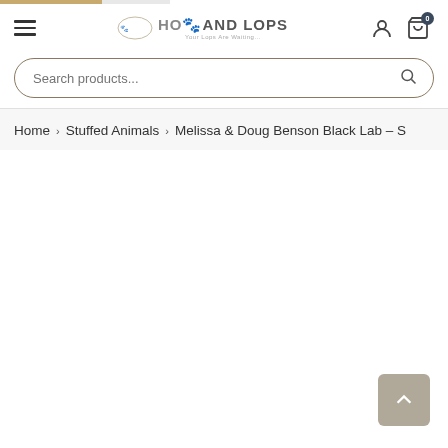[Figure (screenshot): Website header with hamburger menu, Hops and Lops logo, user icon, and cart icon with badge showing 0]
[Figure (screenshot): Search bar with rounded border and search icon]
Home > Stuffed Animals > Melissa & Doug Benson Black Lab – S
[Figure (other): Back to top button (upward chevron arrow on grey background)]